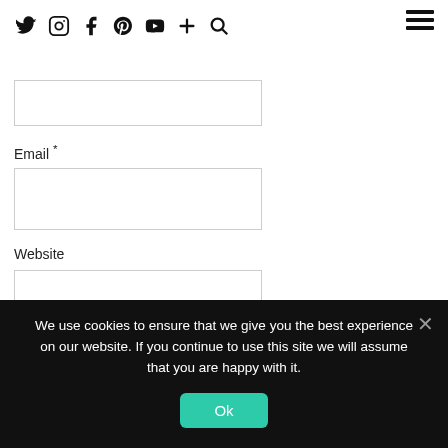Name * [social icons: twitter, instagram, facebook, pinterest, youtube, plus, search] [hamburger menu]
Name *
Email *
Website
Save my name, email, and website in this browser for the next time I comment.
Notify me of follow-up comments by email.
Notify me of new posts by email.
We use cookies to ensure that we give you the best experience on our website. If you continue to use this site we will assume that you are happy with it.